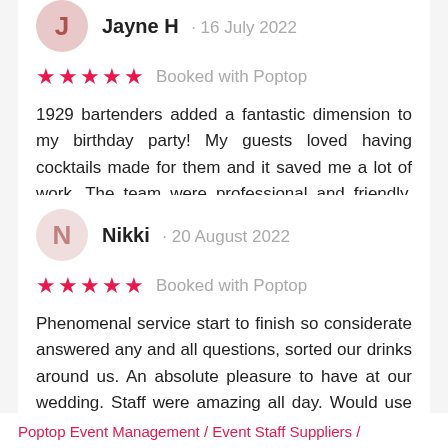Jayne H · 16 July 2022
★★★★★ Booked with Poptop
1929 bartenders added a fantastic dimension to my birthday party! My guests loved having cocktails made for them and it saved me a lot of work. The team were professional and friendly. They brough…
Nikki · 20 August 2022
★★★★★ Booked with Poptop
Phenomenal service start to finish so considerate answered any and all questions, sorted our drinks around us. An absolute pleasure to have at our wedding. Staff were amazing all day. Would use again…
Poptop Event Management / Event Staff Suppliers /